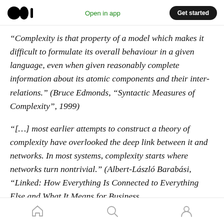Medium logo | Open in app | Get started
“Complexity is that property of a model which makes it difficult to formulate its overall behaviour in a given language, even when given reasonably complete information about its atomic components and their inter-relations.” (Bruce Edmonds, “Syntactic Measures of Complexity”, 1999)
“[…] most earlier attempts to construct a theory of complexity have overlooked the deep link between it and networks. In most systems, complexity starts where networks turn nontrivial.” (Albert-László Barabási, “Linked: How Everything Is Connected to Everything Else and What It Means for Business
Home | Search | Profile